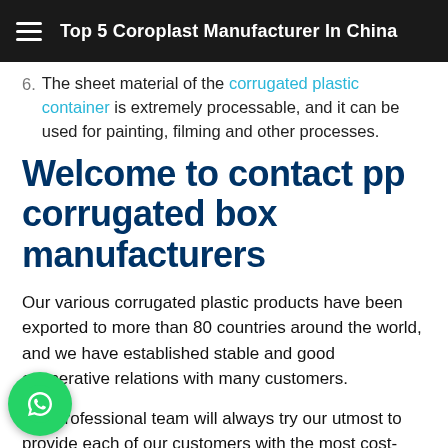Top 5 Coroplast Manufacturer In China
6. The sheet material of the corrugated plastic container is extremely processable, and it can be used for painting, filming and other processes.
Welcome to contact pp corrugated box manufacturers
Our various corrugated plastic products have been exported to more than 80 countries around the world, and we have established stable and good cooperative relations with many customers.
Our professional team will always try our utmost to provide each of our customers with the most cost-effective products and first-class after-sales